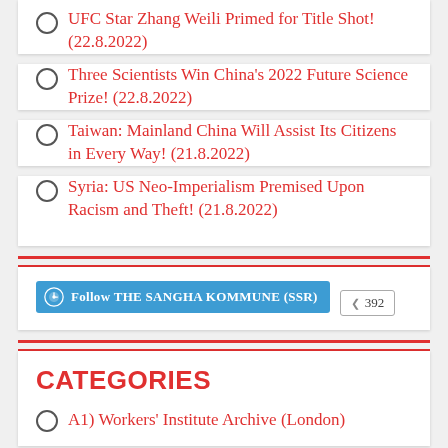UFC Star Zhang Weili Primed for Title Shot! (22.8.2022)
Three Scientists Win China's 2022 Future Science Prize! (22.8.2022)
Taiwan: Mainland China Will Assist Its Citizens in Every Way! (21.8.2022)
Syria: US Neo-Imperialism Premised Upon Racism and Theft! (21.8.2022)
[Figure (other): WordPress Follow button for THE SANGHA KOMMUNE (SSR) with follower count badge showing 392]
CATEGORIES
A1) Workers' Institute Archive (London)